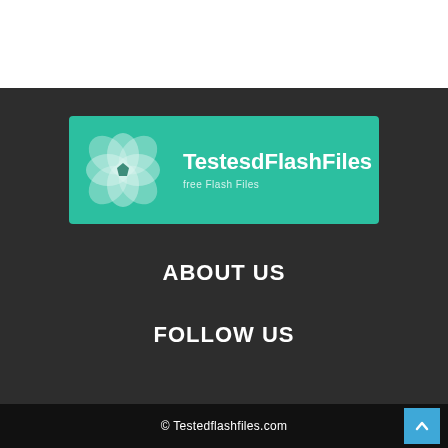[Figure (logo): TestesdFlashFiles logo banner with teal background, flower/petal SVG icon on left, white bold text 'TestesdFlashFiles' and subtitle 'free Flash Files']
ABOUT US
FOLLOW US
© Testedflashfiles.com